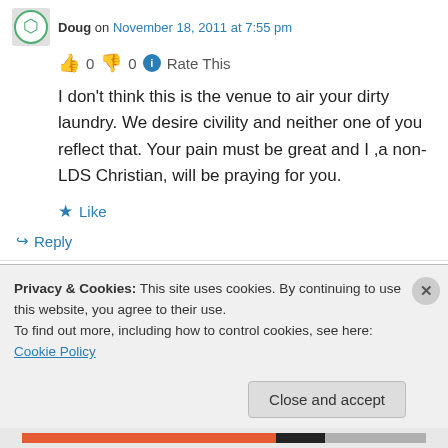Doug on November 18, 2011 at 7:55 pm
👍 0 👎 0 ℹ Rate This
I don't think this is the venue to air your dirty laundry. We desire civility and neither one of you reflect that. Your pain must be great and I ,a non-LDS Christian, will be praying for you.
★ Like
↪ Reply
Privacy & Cookies: This site uses cookies. By continuing to use this website, you agree to their use.
To find out more, including how to control cookies, see here: Cookie Policy
Close and accept